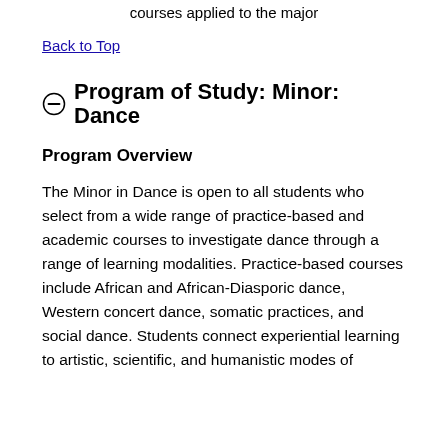courses applied to the major
Back to Top
Program of Study: Minor: Dance
Program Overview
The Minor in Dance is open to all students who select from a wide range of practice-based and academic courses to investigate dance through a range of learning modalities. Practice-based courses include African and African-Diasporic dance, Western concert dance, somatic practices, and social dance. Students connect experiential learning to artistic, scientific, and humanistic modes of